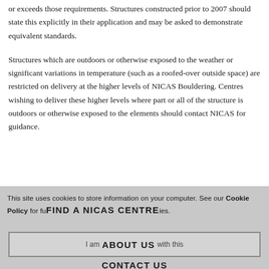or exceeds those requirements. Structures constructed prior to 2007 should state this explicitly in their application and may be asked to demonstrate equivalent standards.
Structures which are outdoors or otherwise exposed to the weather or significant variations in temperature (such as a roofed-over outside space) are restricted on delivery at the higher levels of NICAS Bouldering. Centres wishing to deliver these higher levels where part or all of the structure is outdoors or otherwise exposed to the elements should contact NICAS for guidance.
This site uses cookies to store information on your computer. See our Cookie Policy for further details on how to change your cookie settings.
FIND A NICAS CENTRE
I am happy with this
ABOUT US
CONTACT US